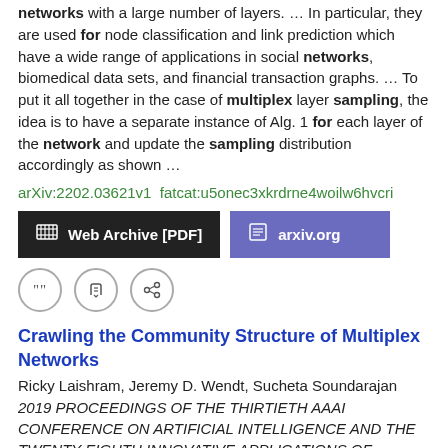networks with a large number of layers.  …  In particular, they are used for node classification and link prediction which have a wide range of applications in social networks, biomedical data sets, and financial transaction graphs.  …  To put it all together in the case of multiplex layer sampling, the idea is to have a separate instance of Alg. 1 for each layer of the network and update the sampling distribution accordingly as shown  …
arXiv:2202.03621v1  fatcat:u5onec3xkrdrne4woilw6hvcri
Web Archive [PDF]   arxiv.org
Crawling the Community Structure of Multiplex Networks
Ricky Laishram, Jeremy D. Wendt, Sucheta Soundarajan
2019 PROCEEDINGS OF THE THIRTIETH AAAI CONFERENCE ON ARTIFICIAL INTELLIGENCE AND THE TWENTY-EIGHTH INNOVATIVE APPLICATIONS OF ARTIFICIAL INTELLIGENCE CONFERENCE
We propose MultiComSample (MCS), a novel algorithm for crawling a multiplex network.  …  MCS uses multiple levels of multi-armed bandits to determine the best layers, communities and node